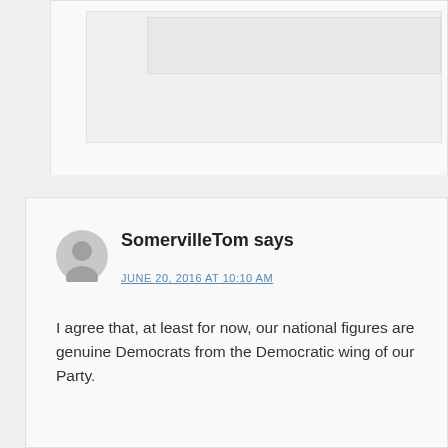[Figure (other): Partially visible comment block at top of page, showing nested comment box elements cut off]
SomervilleTom says
JUNE 20, 2016 AT 10:10 AM
I agree that, at least for now, our national figures are genuine Democrats from the Democratic wing of our Party.
The same is not true for our local officials. The "overwhelming